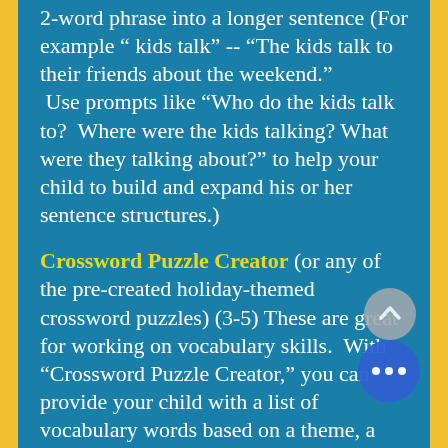2-word phrase into a longer sentence (For example " kids talk" -- "The kids talk to their friends about the weekend."  Use prompts like "Who do the kids talk to?  Where were the kids talking? What were they talking about?" to help your child to build and expand his or her sentence structures.)
Crossword Puzzle Creator (or any of the pre-created holiday-themed crossword puzzles) (3-5) These are great for working on vocabulary skills.  With "Crossword Puzzle Creator," you can provide your child with a list of vocabulary words based on a theme, a topic of interest, or words from a book or lesson.  They will have to come up with clues related to